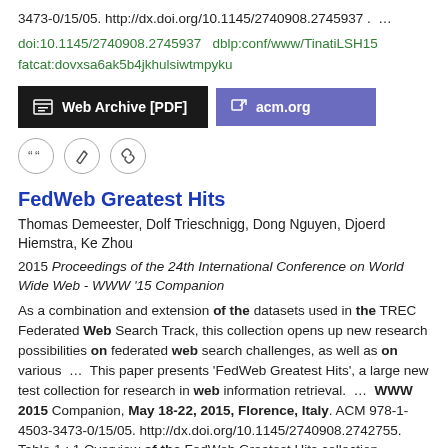3473-0/15/05. http://dx.doi.org/10.1145/2740908.2745937 . …
doi:10.1145/2740908.2745937  dblp:conf/www/TinatiLSH15
fatcat:dovxsa6ak5b4jkhulsiwtmpyku
[Figure (other): Two buttons: 'Web Archive [PDF]' (dark background) and 'acm.org' (purple background), plus three icon buttons (quote, edit, link)]
FedWeb Greatest Hits
Thomas Demeester, Dolf Trieschnigg, Dong Nguyen, Djoerd Hiemstra, Ke Zhou
2015 Proceedings of the 24th International Conference on World Wide Web - WWW '15 Companion
As a combination and extension of the datasets used in the TREC Federated Web Search Track, this collection opens up new research possibilities on federated web search challenges, as well as on various … This paper presents 'FedWeb Greatest Hits', a large new test collection for research in web information retrieval. … WWW 2015 Companion, May 18-22, 2015, Florence, Italy. ACM 978-1-4503-3473-0/15/05. http://dx.doi.org/10.1145/2740908.2742755. Table 1 : 1 Overview of the FedWeb Greatest Hits collection. …